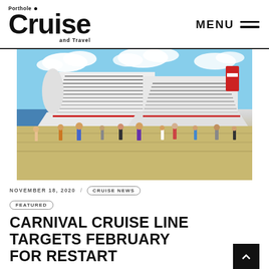Porthole Cruise and Travel — MENU
[Figure (photo): Two large white Carnival cruise ships docked at a port. Tourists and passengers walking along the pier in the foreground. Blue sky with clouds in the background.]
NOVEMBER 18, 2020  /  CRUISE NEWS  FEATURED
CARNIVAL CRUISE LINE TARGETS FEBRUARY FOR RESTART